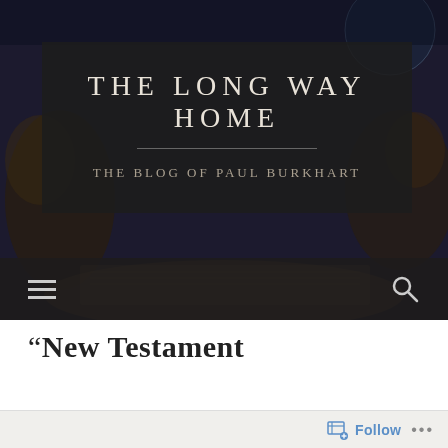[Figure (screenshot): Blog header banner with dark semi-transparent overlay box on top of a dark, antiquated painting/photo background showing aged books and figure, navy/dark blue tones]
THE LONG WAY HOME
THE BLOG OF PAUL BURKHART
[Figure (infographic): Dark navigation bar with hamburger menu icon on the left and search magnifying glass icon on the right]
“New Testament
Follow ...